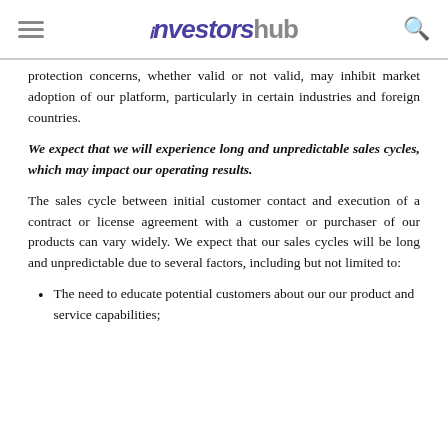investorshub
protection concerns, whether valid or not valid, may inhibit market adoption of our platform, particularly in certain industries and foreign countries.
We expect that we will experience long and unpredictable sales cycles, which may impact our operating results.
The sales cycle between initial customer contact and execution of a contract or license agreement with a customer or purchaser of our products can vary widely. We expect that our sales cycles will be long and unpredictable due to several factors, including but not limited to:
The need to educate potential customers about our our product and service capabilities;